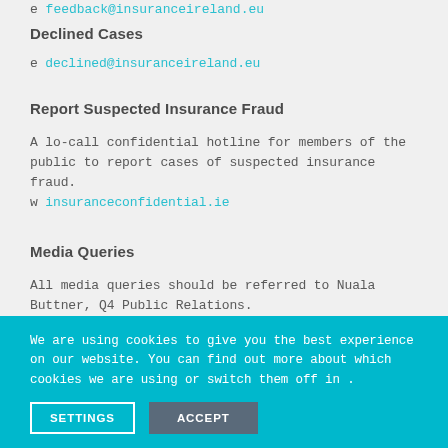e feedback@insuranceireland.eu (truncated at top)
Declined Cases
e declined@insuranceireland.eu
Report Suspected Insurance Fraud
A lo-call confidential hotline for members of the public to report cases of suspected insurance fraud.
w insuranceconfidential.ie
Media Queries
All media queries should be referred to Nuala Buttner, Q4 Public Relations.
t +353 (85) 174 4275
e nuala@q4pr.ie
We are using cookies to give you the best experience on our website. You can find out more about which cookies we are using or switch them off in .
SETTINGS   ACCEPT